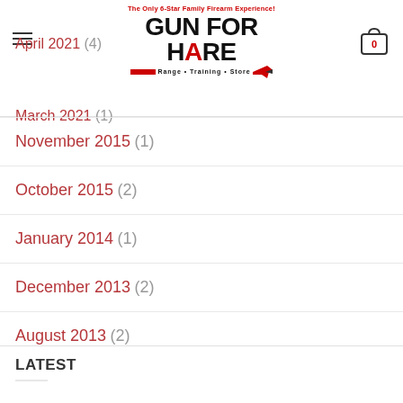Gun For Hire - The Only 6-Star Family Firearm Experience! Range • Training • Store
April 2021 (4)
March 2021 (1)
November 2015 (1)
October 2015 (2)
January 2014 (1)
December 2013 (2)
August 2013 (2)
LATEST